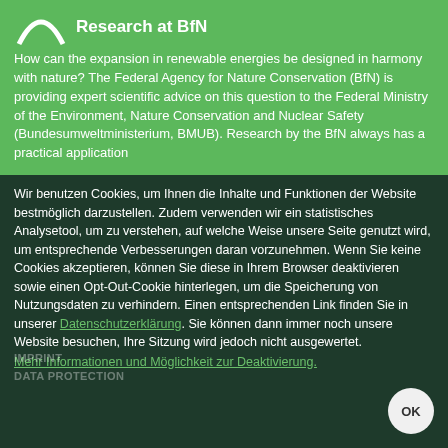[Figure (logo): BfN arch/logo in white on green background]
Research at BfN
How can the expansion in renewable energies be designed in harmony with nature? The Federal Agency for Nature Conservation (BfN) is providing expert scientific advice on this question to the Federal Ministry of the Environment, Nature Conservation and Nuclear Safety (Bundesumweltministerium, BMUB). Research by the BfN always has a practical application
Wir benutzen Cookies, um Ihnen die Inhalte und Funktionen der Website bestmöglich darzustellen. Zudem verwenden wir ein statistisches Analysetool, um zu verstehen, auf welche Weise unsere Seite genutzt wird, um entsprechende Verbesserungen daran vorzunehmen. Wenn Sie keine Cookies akzeptieren, können Sie diese in Ihrem Browser deaktivieren sowie einen Opt-Out-Cookie hinterlegen, um die Speicherung von Nutzungsdaten zu verhindern. Einen entsprechenden Link finden Sie in unserer Datenschutzerklärung. Sie können dann immer noch unsere Website besuchen, Ihre Sitzung wird jedoch nicht ausgewertet.
Mehr Informationen und Möglichkeit zur Deaktivierung.
IMPRINT
DATA PROTECTION